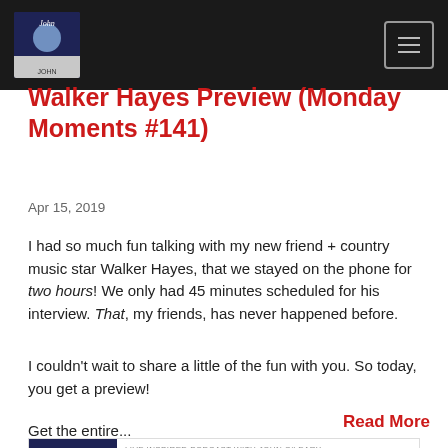Walker Hayes Preview (Monday Moments #141)
Walker Hayes Preview (Monday Moments #141)
Apr 15, 2019
I had so much fun talking with my new friend + country music star Walker Hayes, that we stayed on the phone for two hours! We only had 45 minutes scheduled for his interview. That, my friends, has never happened before.
I couldn't wait to share a little of the fun with you. So today, you get a preview!
Get the entire...
Read More
[Figure (screenshot): Podcast player widget for 'Walker Hayes Preview (Monday Moments #141)' on Live Inspired Podcast with John O'Leary. Shows play button, progress bar, time 00:00:00, and control icons.]